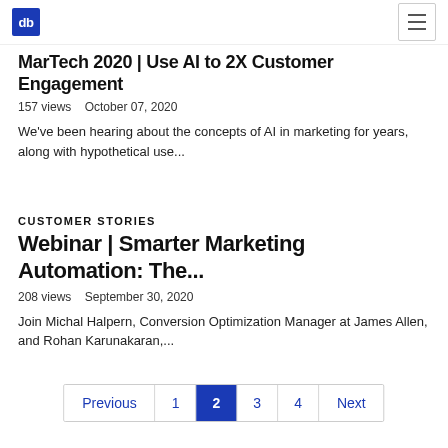db | menu
MarTech 2020 | Use AI to 2X Customer Engagement
157 views   October 07, 2020
We've been hearing about the concepts of AI in marketing for years, along with hypothetical use...
CUSTOMER STORIES
Webinar | Smarter Marketing Automation: The...
208 views   September 30, 2020
Join Michal Halpern, Conversion Optimization Manager at James Allen, and Rohan Karunakaran,...
Previous
1
2
3
4
Next